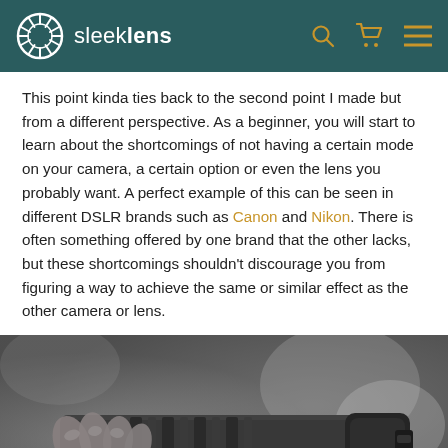sleeklens
This point kinda ties back to the second point I made but from a different perspective. As a beginner, you will start to learn about the shortcomings of not having a certain mode on your camera, a certain option or even the lens you probably want. A perfect example of this can be seen in different DSLR brands such as Canon and Nikon. There is often something offered by one brand that the other lacks, but these shortcomings shouldn't discourage you from figuring a way to achieve the same or similar effect as the other camera or lens.
[Figure (photo): Black and white close-up photo of a hand gripping a DSLR camera with a telephoto lens]